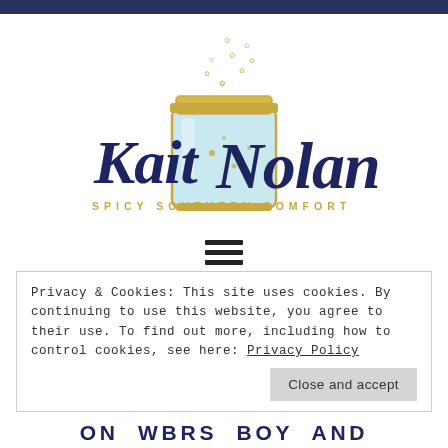[Figure (logo): Kait Nolan logo with mason jar illustration containing fireflies, script text 'Kait Nolan' in navy blue, and subtitle 'SPICY SOUTHERN COMFORT' in gold lettertracking]
[Figure (other): Hamburger menu icon with three horizontal bars]
Privacy & Cookies: This site uses cookies. By continuing to use this website, you agree to their use. To find out more, including how to control cookies, see here: Privacy Policy
Close and accept
ON WBRS BOY AND